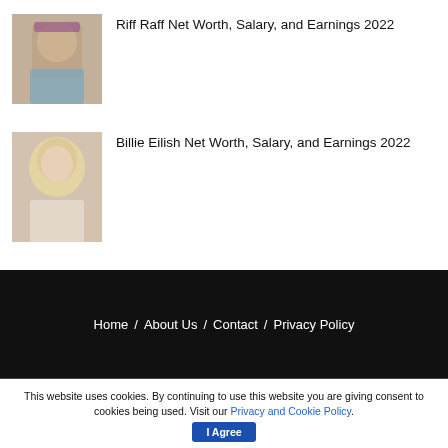[Figure (photo): Thumbnail photo of Riff Raff, a rapper, wearing colorful clothing and touching his hat]
Riff Raff Net Worth, Salary, and Earnings 2022
[Figure (photo): Thumbnail photo of Billie Eilish with blonde hair wearing a white outfit]
Billie Eilish Net Worth, Salary, and Earnings 2022
Home / About Us / Contact / Privacy Policy
This website uses cookies. By continuing to use this website you are giving consent to cookies being used. Visit our Privacy and Cookie Policy.
I Agree